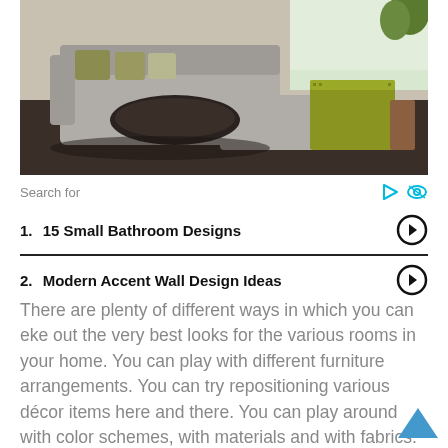[Figure (photo): Interior living room with a large grey sectional sofa, dark fur throw blanket, yellow-green upholstered cube ottoman, and decorative pillows. Dark hardwood floor, bright window in background with plants.]
Search for
1. 15 Small Bathroom Designs
2. Modern Accent Wall Design Ideas
There are plenty of different ways in which you can eke out the very best looks for the various rooms in your home. You can play with different furniture arrangements. You can try repositioning various décor items here and there. You can play around with color schemes, with materials and with fabrics. And you can do a whole host of other things, too!